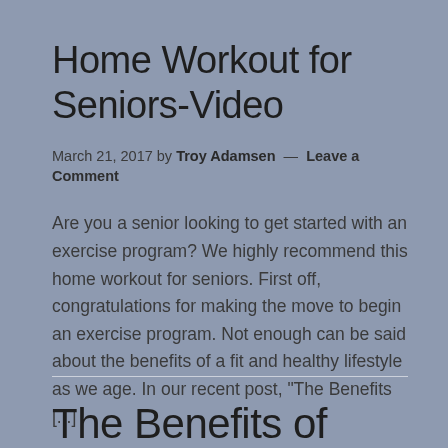Home Workout for Seniors-Video
March 21, 2017 by Troy Adamsen — Leave a Comment
Are you a senior looking to get started with an exercise program? We highly recommend this home workout for seniors. First off, congratulations for making the move to begin an exercise program. Not enough can be said about the benefits of a fit and healthy lifestyle as we age. In our recent post, "The Benefits [...]
The Benefits of